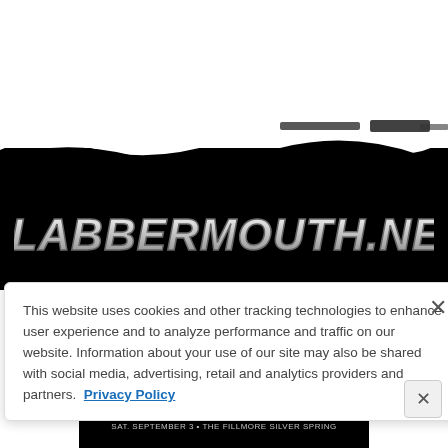[Figure (logo): BLABBERMOUTH.NET logo in white bold italic text on black brushstroke background]
This website uses cookies and other tracking technologies to enhance user experience and to analyze performance and traffic on our website. Information about your use of our site may also be shared with social media, advertising, retail and analytics providers and partners. Privacy Policy
[Figure (infographic): CARPENTER BRUT advertisement banner. SAT. SEPTEMBER 3 • THE FILLMORE SILVER SPRING]